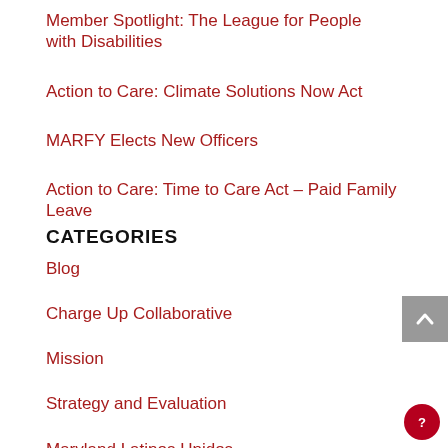Member Spotlight: The League for People with Disabilities
Action to Care: Climate Solutions Now Act
MARFY Elects New Officers
Action to Care: Time to Care Act – Paid Family Leave
CATEGORIES
Blog
Charge Up Collaborative
Mission
Strategy and Evaluation
Maryland Latinos Unidos